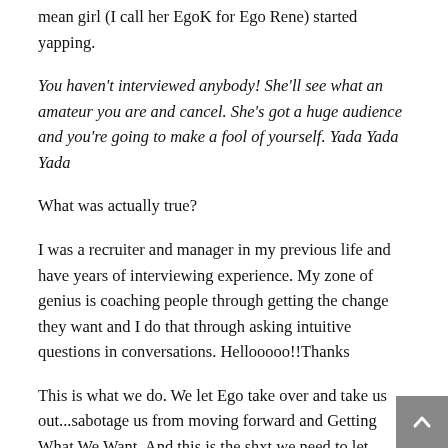mean girl (I call her EgoK for Ego Rene) started yapping.
You haven't interviewed anybody! She'll see what an amateur you are and cancel. She's got a huge audience and you're going to make a fool of yourself. Yada Yada Yada
What was actually true?
I was a recruiter and manager in my previous life and have years of interviewing experience. My zone of genius is coaching people through getting the change they want and I do that through asking intuitive questions in conversations. Hellooooo!!Thanks
This is what we do. We let Ego take over and take us out...sabotage us from moving forward and Getting What We Want. And this is the shxt we need to let